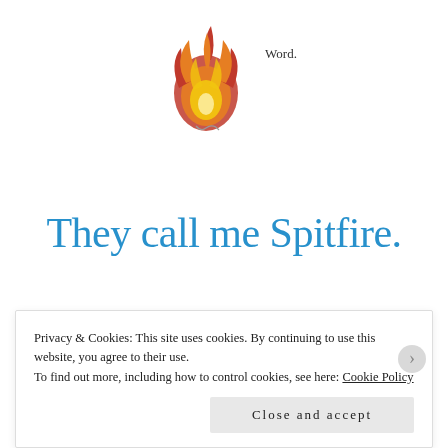[Figure (logo): Flaming ball logo with 'Word.' text label — blog/website header logo for 'They call me Spitfire']
They call me Spitfire.
≡ MENU
TAG: SPECIAL EDUCATION
Privacy & Cookies: This site uses cookies. By continuing to use this website, you agree to their use.
To find out more, including how to control cookies, see here: Cookie Policy
Close and accept